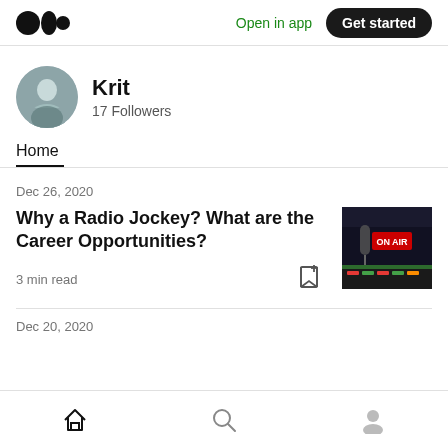Medium logo | Open in app | Get started
Krit
17 Followers
Home
Dec 26, 2020
Why a Radio Jockey? What are the Career Opportunities?
3 min read
[Figure (photo): Radio jockey article thumbnail showing a microphone and 'ON AIR' sign in red neon light]
Dec 20, 2020
Home | Search | Profile navigation icons